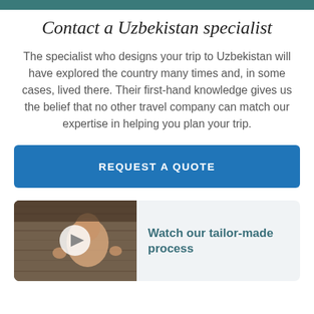Contact a Uzbekistan specialist
The specialist who designs your trip to Uzbekistan will have explored the country many times and, in some cases, lived there. Their first-hand knowledge gives us the belief that no other travel company can match our expertise in helping you plan your trip.
REQUEST A QUOTE
[Figure (photo): A smiling child leaning over a wooden railing, with a play button overlay indicating a video thumbnail.]
Watch our tailor-made process